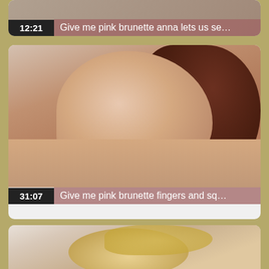[Figure (screenshot): Video thumbnail card 1 with time badge 12:21 and title 'Give me pink brunette anna lets us se...']
[Figure (screenshot): Video thumbnail card 2 with blurred brunette close-up, time badge 31:07 and title 'Give me pink brunette fingers and sq...']
[Figure (screenshot): Video thumbnail card 3 partial view with blonde person, partially cut off at bottom of page]